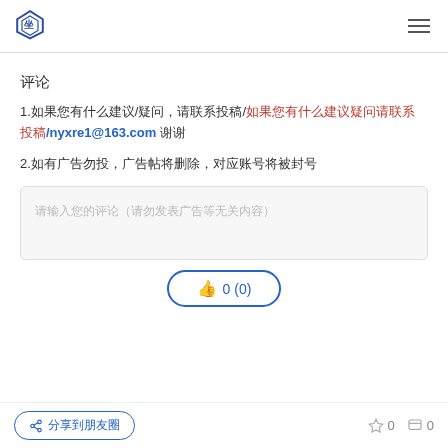Logo and navigation header
评论
1.如果您有什么建议/疑问，请联系投稿/nyxre1@163.com 谢谢
2.如有广告勿投，广告帖将删除，对应账号将被封号
请输入您的评论（请勿发表广告等无关内容）
👍 0 (0)
分享到朋友圈  ☆ 0  💬 0